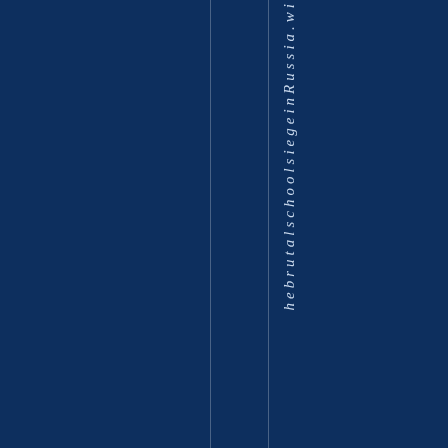[Figure (other): Dark navy blue background with two faint vertical white lines and rotated italic text reading 'he brutal schools ie ge in Russia .wi' arranged vertically down the right portion of the page]
hebrutalschoolsiegeinRussia.wi